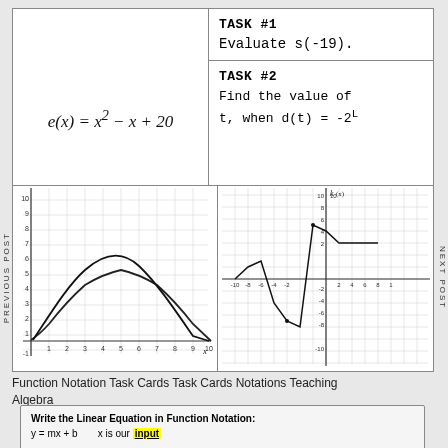TASK #1
Evaluate s(-19).
TASK #2
Find the value of t, when d(t) = -2L
[Figure (continuous-plot): Graph of a parabola opening downward on a grid with x-axis from -1 to 10 and y-axis from -1 to 10. The curve peaks near x=5, y=8.]
[Figure (continuous-plot): Graph of k(x) as a piecewise linear function on a grid with x from -10 to 10 and y from -10 to 10. The function has multiple peaks and valleys forming a zigzag pattern.]
Function Notation Task Cards Task Cards Notations Teaching Algebra
Write the Linear Equation in Function Notation:
y = mx + b          x is our input